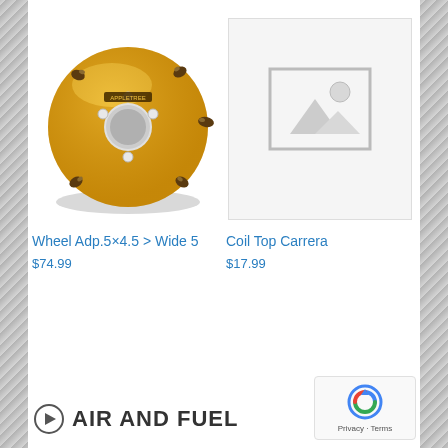[Figure (photo): Yellow/gold wheel adapter disc with bolts and center hole, shown at an angle]
Wheel Adp.5×4.5 > Wide 5
$74.99
[Figure (photo): Placeholder image icon showing mountains and sun in grey]
Coil Top Carrera
$17.99
AIR AND FUEL